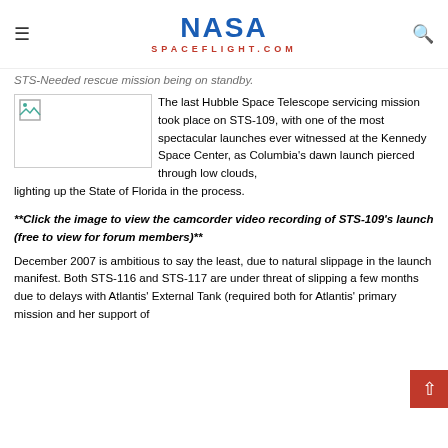NASA SPACEFLIGHT.COM
STS-Needed rescue mission being on standby.
[Figure (photo): Broken/missing image placeholder thumbnail with green mountain/image icon]
The last Hubble Space Telescope servicing mission took place on STS-109, with one of the most spectacular launches ever witnessed at the Kennedy Space Center, as Columbia's dawn launch pierced through low clouds, lighting up the State of Florida in the process.
**Click the image to view the camcorder video recording of STS-109's launch (free to view for forum members)**
December 2007 is ambitious to say the least, due to natural slippage in the launch manifest. Both STS-116 and STS-117 are under threat of slipping a few months due to delays with Atlantis' External Tank (required both for Atlantis' primary mission and her support of